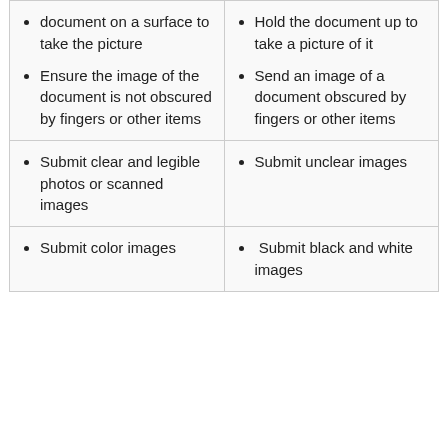document on a surface to take the picture
Ensure the image of the document is not obscured by fingers or other items
Hold the document up to take a picture of it
Send an image of a document obscured by fingers or other items
Submit clear and legible photos or scanned images
Submit unclear images
Submit color images
Submit black and white images